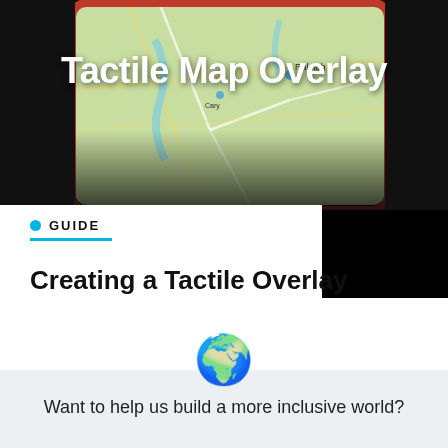[Figure (photo): Photo of a tablet showing a map application (Raleigh area), held with a red case, on a dark background. White bold text 'Tactile Map Overlay' overlaid on the image.]
GUIDE
Creating a Tactile Overlay
[Figure (illustration): Globe emoji illustration]
Want to help us build a more inclusive world?